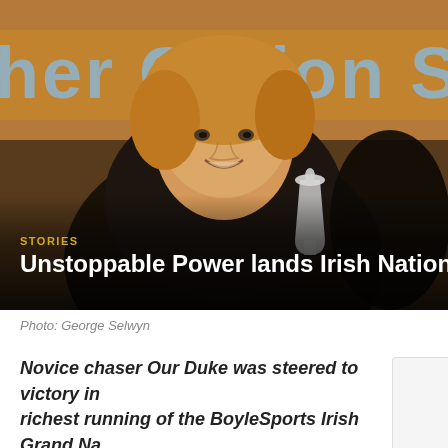[Figure (photo): Woman smiling, holding a trophy cup, wearing black jacket. Behind her is an orange/brown wooden banner with partial blue text reading '...her C...ion St...'. Photo overlaid with text at the bottom.]
Photo: George Selwyn
Novice chaser Our Duke was steered to victory in richest running of the BoyleSports Irish Grand Na... at Fairyhouse.